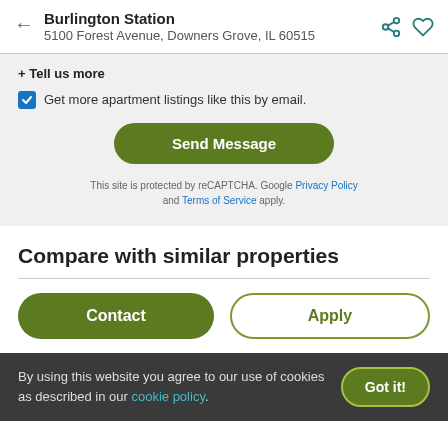Burlington Station
5100 Forest Avenue, Downers Grove, IL 60515
+ Tell us more
Get more apartment listings like this by email.
Send Message
This site is protected by reCAPTCHA. Google Privacy Policy and Terms of Service apply.
Compare with similar properties
Contact
Apply
By using this website you agree to our use of cookies as described in our cookie policy.
Got it!